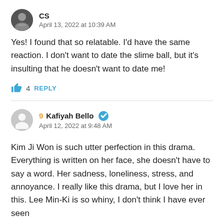CS
April 13, 2022 at 10:39 AM
Yes! I found that so relatable. I'd have the same reaction. I don't want to date the slime ball, but it's insulting that he doesn't want to date me!
4  REPLY
9  Kafiyah Bello
April 12, 2022 at 9:48 AM
Kim Ji Won is such utter perfection in this drama. Everything is written on her face, she doesn't have to say a word. Her sadness, loneliness, stress, and annoyance. I really like this drama, but I love her in this. Lee Min-Ki is so whiny, I don't think I have ever seen